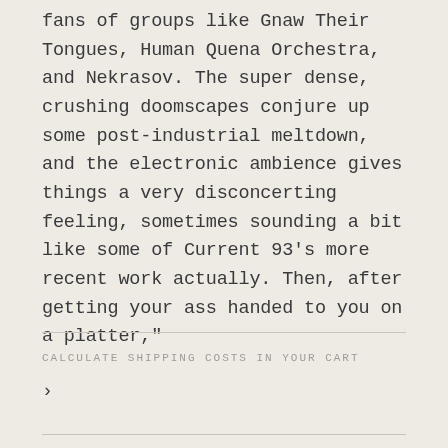fans of groups like Gnaw Their Tongues, Human Quena Orchestra, and Nekrasov. The super dense, crushing doomscapes conjure up some post-industrial meltdown, and the electronic ambience gives things a very disconcerting feeling, sometimes sounding a bit like some of Current 93's more recent work actually. Then, after getting your ass handed to you on a platter,"
CALCULATE SHIPPING COSTS IN YOUR CART
›